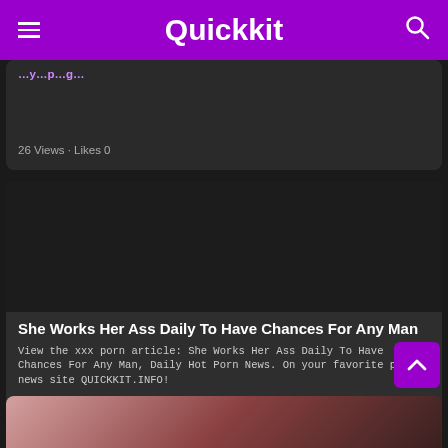Quickkit
26 Views · Likes 0
[Figure (screenshot): Dark thumbnail image area for article card]
She Works Her Ass Daily To Have Chances For Any Man
View the xxx porn article: She Works Her Ass Daily To Have Chances For Any Man, Daily Hot Porn News. On your favorite porn news site QUICKKIT.INFO!
27 Views · Likes 0
[Figure (photo): Partially visible thumbnail at bottom of page]